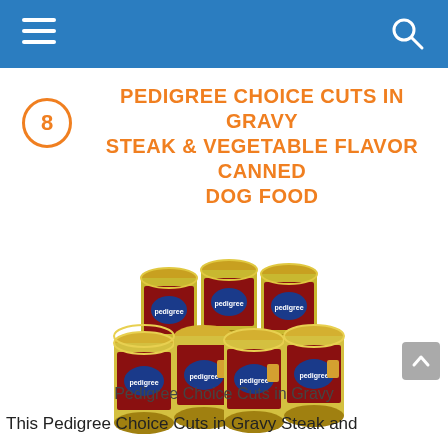Navigation bar with hamburger menu and search icon
8 PEDIGREE CHOICE CUTS IN GRAVY STEAK & VEGETABLE FLAVOR CANNED DOG FOOD
[Figure (photo): Multiple cans of Pedigree Choice Cuts in Gravy Steak & Vegetable Flavor dog food arranged in a group]
Pedigree Choice Cuts in Gravy
This Pedigree Choice Cuts in Gravy Steak and